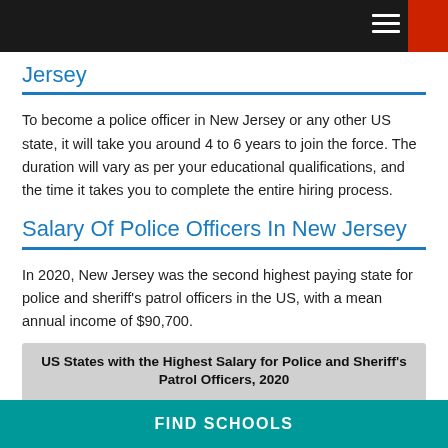Jersey
To become a police officer in New Jersey or any other US state, it will take you around 4 to 6 years to join the force. The duration will vary as per your educational qualifications, and the time it takes you to complete the entire hiring process.
Salary Of Police Officers In New Jersey
In 2020, New Jersey was the second highest paying state for police and sheriff's patrol officers in the US, with a mean annual income of $90,700.
US States with the Highest Salary for Police and Sheriff's Patrol Officers, 2020
FIND SCHOOLS